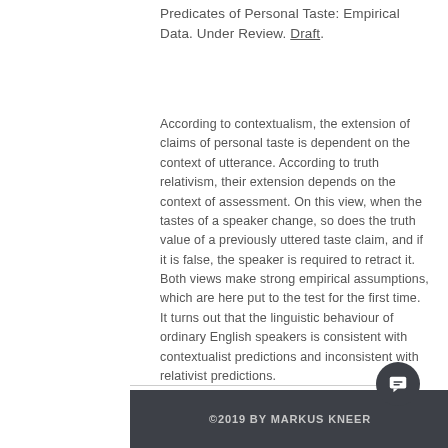Predicates of Personal Taste: Empirical Data. Under Review. Draft.
According to contextualism, the extension of claims of personal taste is dependent on the context of utterance. According to truth relativism, their extension depends on the context of assessment. On this view, when the tastes of a speaker change, so does the truth value of a previously uttered taste claim, and if it is false, the speaker is required to retract it. Both views make strong empirical assumptions, which are here put to the test for the first time. It turns out that the linguistic behaviour of ordinary English speakers is consistent with contextualist predictions and inconsistent with relativist predictions.
©2019 BY MARKUS KNEER